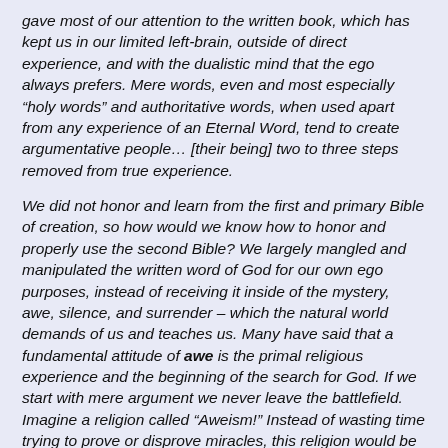gave most of our attention to the written book, which has kept us in our limited left-brain, outside of direct experience, and with the dualistic mind that the ego always prefers. Mere words, even and most especially “holy words” and authoritative words, when used apart from any experience of an Eternal Word, tend to create argumentative people… [their being] two to three steps removed from true experience.
We did not honor and learn from the first and primary Bible of creation, so how would we know how to honor and properly use the second Bible? We largely mangled and manipulated the written word of God for our own ego purposes, instead of receiving it inside of the mystery, awe, silence, and surrender – which the natural world demands of us and teaches us. Many have said that a fundamental attitude of awe is the primal religious experience and the beginning of the search for God. If we start with mere argument we never leave the battlefield. Imagine a religion called “Aweism!” Instead of wasting time trying to prove or disprove miracles, this religion would be inhabited by